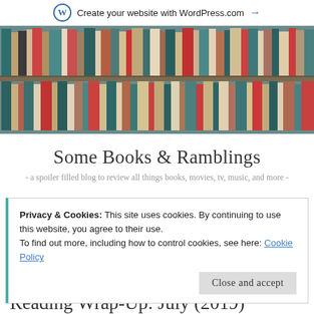Create your website with WordPress.com →
[Figure (photo): Bookshelf filled with books of various colors including teal, red, tan, and white books on two shelves]
Some Books & Ramblings
- a spoiler filled blog to review all things books, movies, tv, music, and more -
Privacy & Cookies: This site uses cookies. By continuing to use this website, you agree to their use.
To find out more, including how to control cookies, see here: Cookie Policy
Close and accept
Reading Wrap-Up: July (2019)